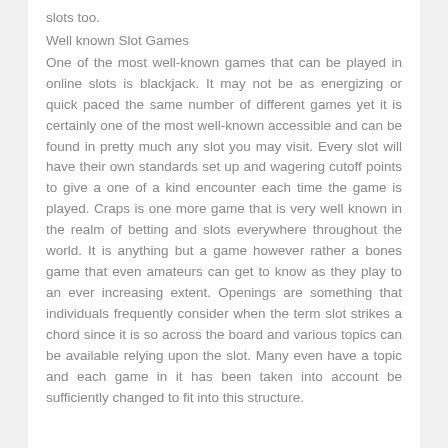slots too.
Well known Slot Games
One of the most well-known games that can be played in online slots is blackjack. It may not be as energizing or quick paced the same number of different games yet it is certainly one of the most well-known accessible and can be found in pretty much any slot you may visit. Every slot will have their own standards set up and wagering cutoff points to give a one of a kind encounter each time the game is played. Craps is one more game that is very well known in the realm of betting and slots everywhere throughout the world. It is anything but a game however rather a bones game that even amateurs can get to know as they play to an ever increasing extent. Openings are something that individuals frequently consider when the term slot strikes a chord since it is so across the board and various topics can be available relying upon the slot. Many even have a topic and each game in it has been taken into account be sufficiently changed to fit into this structure.